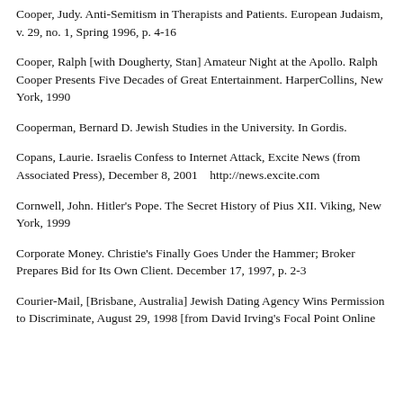Cooper, Judy. Anti-Semitism in Therapists and Patients. European Judaism, v. 29, no. 1, Spring 1996, p. 4-16
Cooper, Ralph [with Dougherty, Stan] Amateur Night at the Apollo. Ralph Cooper Presents Five Decades of Great Entertainment. HarperCollins, New York, 1990
Cooperman, Bernard D. Jewish Studies in the University. In Gordis.
Copans, Laurie. Israelis Confess to Internet Attack, Excite News (from Associated Press), December 8, 2001    http://news.excite.com
Cornwell, John. Hitler's Pope. The Secret History of Pius XII. Viking, New York, 1999
Corporate Money. Christie's Finally Goes Under the Hammer; Broker Prepares Bid for Its Own Client. December 17, 1997, p. 2-3
Courier-Mail, [Brisbane, Australia] Jewish Dating Agency Wins Permission to Discriminate, August 29, 1998 [from David Irving's Focal Point Online Website]